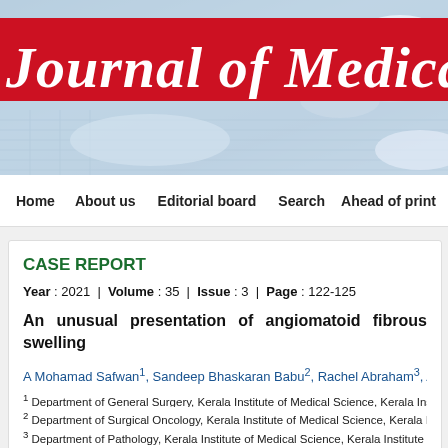[Figure (other): Journal of Medical Sciences banner with red title bar over blue medical background with pills]
Home   About us   Editorial board   Search   Ahead of print
CASE REPORT
Year : 2021  |  Volume : 35  |  Issue : 3  |  Page : 122-125
An unusual presentation of angiomatoid fibrous swelling
A Mohamad Safwan1, Sandeep Bhaskaran Babu2, Rachel Abraham3, Annes Thi...
1 Department of General Surgery, Kerala Institute of Medical Science, Kerala Institute of...
2 Department of Surgical Oncology, Kerala Institute of Medical Science, Kerala Institute...
3 Department of Pathology, Kerala Institute of Medical Science, Kerala Institute of Medic...